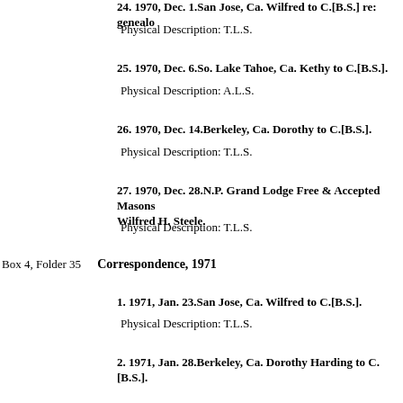24. 1970, Dec. 1.San Jose, Ca. Wilfred to C.[B.S.] re: genealo...
Physical Description: T.L.S.
25. 1970, Dec. 6.So. Lake Tahoe, Ca. Kethy to C.[B.S.].
Physical Description: A.L.S.
26. 1970, Dec. 14.Berkeley, Ca. Dorothy to C.[B.S.].
Physical Description: T.L.S.
27. 1970, Dec. 28.N.P. Grand Lodge Free & Accepted Masons... Wilfred H. Steele.
Physical Description: T.L.S.
Box 4, Folder 35    Correspondence, 1971
1. 1971, Jan. 23.San Jose, Ca. Wilfred to C.[B.S.].
Physical Description: T.L.S.
2. 1971, Jan. 28.Berkeley, Ca. Dorothy Harding to C.[B.S.].